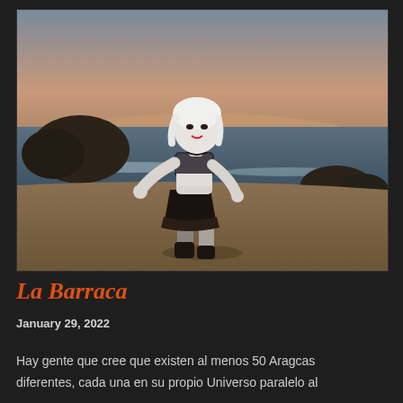[Figure (photo): A 3D animated female character with white/silver hair, wearing a black mini skirt, dark patterned top, and boots, posed dynamically on a beach at sunset with rocks and ocean waves in the background.]
La Barraca
January 29, 2022
Hay gente que cree que existen al menos 50 Aragcas diferentes, cada una en su propio Universo paralelo al